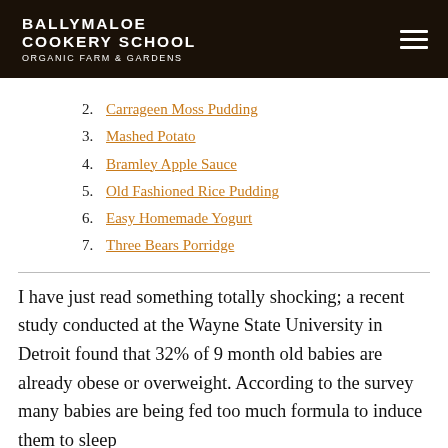BALLYMALOE COOKERY SCHOOL ORGANIC FARM & GARDENS
2. Carrageen Moss Pudding
3. Mashed Potato
4. Bramley Apple Sauce
5. Old Fashioned Rice Pudding
6. Easy Homemade Yogurt
7. Three Bears Porridge
I have just read something totally shocking; a recent study conducted at the Wayne State University in Detroit found that 32% of 9 month old babies are already obese or overweight. According to the survey many babies are being fed too much formula to induce them to sleep